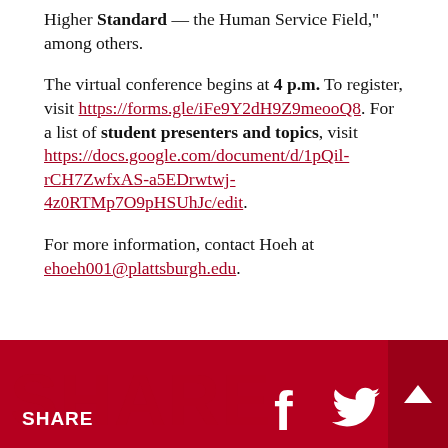Higher Standard — the Human Service Field," among others.
The virtual conference begins at 4 p.m. To register, visit https://forms.gle/iFe9Y2dH9Z9meooQ8. For a list of student presenters and topics, visit https://docs.google.com/document/d/1pQil-rCH7ZwfxAS-a5EDrwtwj-4z0RTMp7O9pHSUhJc/edit.
For more information, contact Hoeh at ehoeh001@plattsburgh.edu.
SHARE